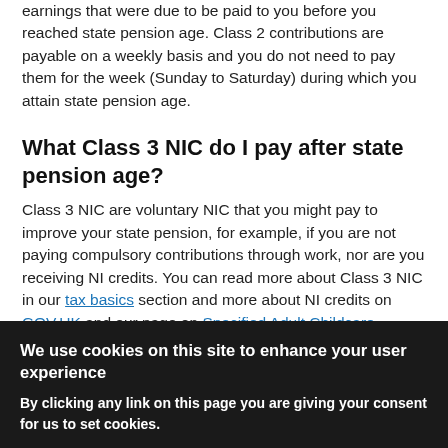earnings that were due to be paid to you before you reached state pension age. Class 2 contributions are payable on a weekly basis and you do not need to pay them for the week (Sunday to Saturday) during which you attain state pension age.
What Class 3 NIC do I pay after state pension age?
Class 3 NIC are voluntary NIC that you might pay to improve your state pension, for example, if you are not paying compulsory contributions through work, nor are you receiving NI credits. You can read more about Class 3 NIC in our tax basics section and more about NI credits on GOV.UK and our page on Specified Adult Childcare credits. Make sure you will benefit from paying them before doing so.
We use cookies on this site to enhance your user experience
By clicking any link on this page you are giving your consent for us to set cookies.